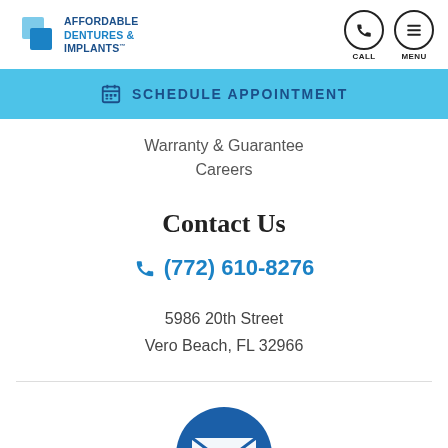AFFORDABLE DENTURES & IMPLANTS
SCHEDULE APPOINTMENT
Warranty & Guarantee
Careers
Contact Us
(772) 610-8276
5986 20th Street
Vero Beach, FL 32966
[Figure (illustration): Blue circle with envelope/mail icon at bottom of page]